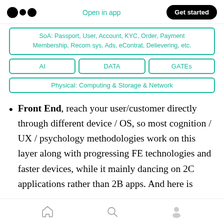Open in app | Get started
[Figure (infographic): SoA service layer box listing: Passport, User, Account, KYC, Order, Payment, Membership, Recom sys, Ads, eContrat, Delievering, etc. Below are three boxes: AI, DATA, GATEs. Below that: Physical: Computing & Storage & Network]
Front End, reach your user/customer directly through different device / OS, so most cognition / UX / psychology methodologies work on this layer along with progressing FE technologies and faster devices, while it mainly dancing on 2C applications rather than 2B apps. And here is
Home | Search | Profile